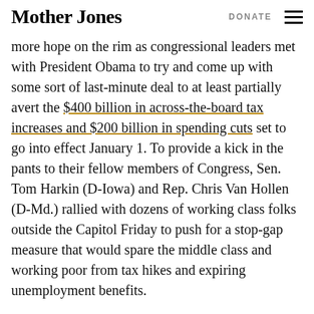Mother Jones | DONATE
more hope on the rim as congressional leaders met with President Obama to try and come up with some sort of last-minute deal to at least partially avert the $400 billion in across-the-board tax increases and $200 billion in spending cuts set to go into effect January 1. To provide a kick in the pants to their fellow members of Congress, Sen. Tom Harkin (D-Iowa) and Rep. Chris Van Hollen (D-Md.) rallied with dozens of working class folks outside the Capitol Friday to push for a stop-gap measure that would spare the middle class and working poor from tax hikes and expiring unemployment benefits.
An unemployed maintenance technician, a former actress, a teacher, some grandmas with kids in tow,